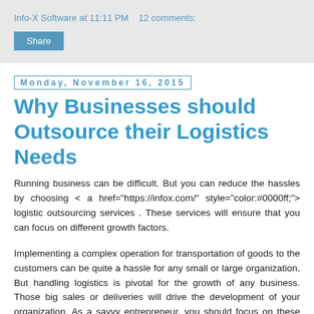Info-X Software at 11:11 PM   12 comments:
Share
Monday, November 16, 2015
Why Businesses should Outsource their Logistics Needs
Running business can be difficult. But you can reduce the hassles by choosing < a href="https://infox.com/" style="color:#0000ff;"> logistic outsourcing services . These services will ensure that you can focus on different growth factors.
Implementing a complex operation for transportation of goods to the customers can be quite a hassle for any small or large organization. But handling logistics is pivotal for the growth of any business. Those big sales or deliveries will drive the development of your organization. As a savvy entrepreneur, you should focus on these outsourcing